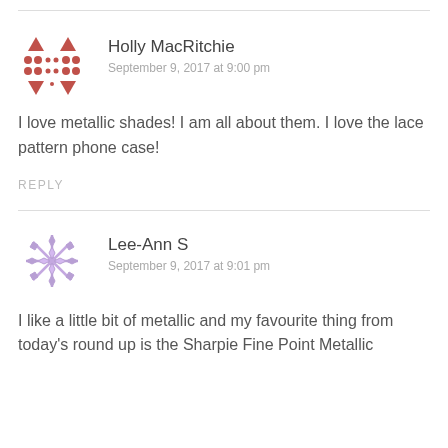[Figure (illustration): Red decorative dot pattern avatar for Holly MacRitchie]
Holly MacRitchie
September 9, 2017 at 9:00 pm
I love metallic shades! I am all about them. I love the lace pattern phone case!
REPLY
[Figure (illustration): Purple snowflake/star pattern avatar for Lee-Ann S]
Lee-Ann S
September 9, 2017 at 9:01 pm
I like a little bit of metallic and my favourite thing from today's round up is the Sharpie Fine Point Metallic